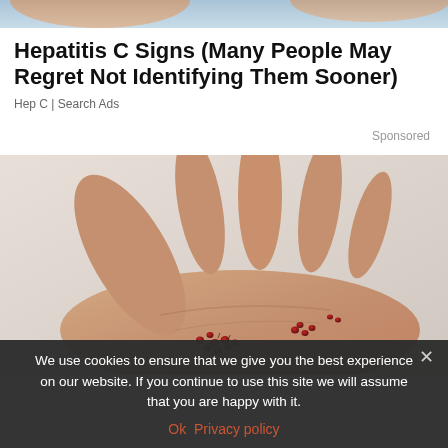[Figure (photo): Top portion of a person's arm/shoulder with skin tones visible at top of page]
Hepatitis C Signs (Many People May Regret Not Identifying Them Sooner)
Hep C | Search Ads
Sponsored
[Figure (photo): An open human hand (palm up) holding small red berries or seeds scattered across the palm]
We use cookies to ensure that we give you the best experience on our website. If you continue to use this site we will assume that you are happy with it.
Ok  Privacy policy